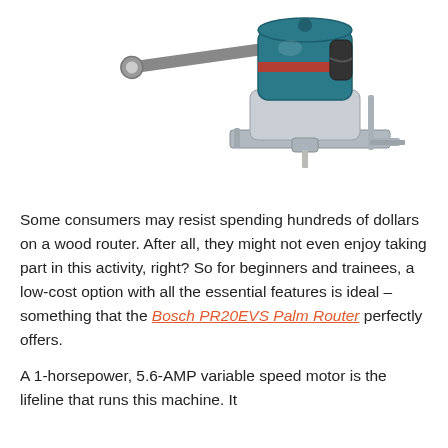[Figure (photo): A Bosch palm router (teal and silver) with a wrench accessory, shown on a white background.]
Some consumers may resist spending hundreds of dollars on a wood router. After all, they might not even enjoy taking part in this activity, right? So for beginners and trainees, a low-cost option with all the essential features is ideal – something that the Bosch PR20EVS Palm Router perfectly offers.
A 1-horsepower, 5.6-AMP variable speed motor is the lifeline that runs this machine. It